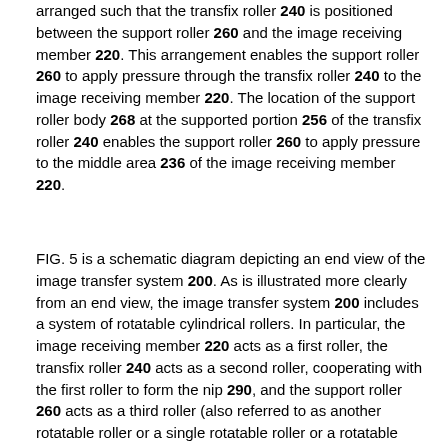arranged such that the transfix roller 240 is positioned between the support roller 260 and the image receiving member 220. This arrangement enables the support roller 260 to apply pressure through the transfix roller 240 to the image receiving member 220. The location of the support roller body 268 at the supported portion 256 of the transfix roller 240 enables the support roller 260 to apply pressure to the middle area 236 of the image receiving member 220.
FIG. 5 is a schematic diagram depicting an end view of the image transfer system 200. As is illustrated more clearly from an end view, the image transfer system 200 includes a system of rotatable cylindrical rollers. In particular, the image receiving member 220 acts as a first roller, the transfix roller 240 acts as a second roller, cooperating with the first roller to form the nip 290, and the support roller 260 acts as a third roller (also referred to as another rotatable roller or a single rotatable roller or a rotatable roller), interposing at least a portion of the second roller between the first roller and the third roller. Thus, the third roller (or the support roller 260) is configured to influence the nip 290 formed between the first roller (the image receiving member 220) and the second roller (the transfix roller 240)